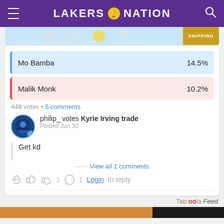LAKERS NATION
[Figure (screenshot): Partial ad banner with blue background and gold SHIPPING badge]
Mo Bamba  14.5%
Malik Monk  10.2%
449 votes • 5 comments
philip_ votes Kyrie Irving trade
Posted Jun 30
Get kd
View all 1 comments
👍 1  👎  💬 1  Login to reply
Taboola Feed